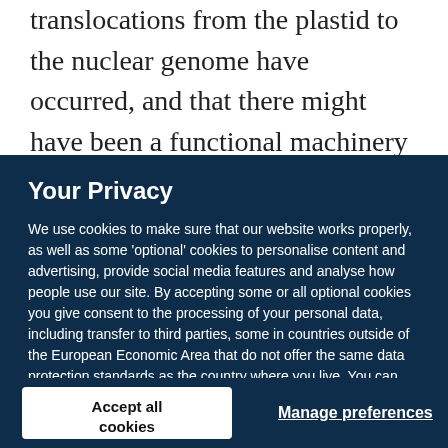translocations from the plastid to the nuclear genome have occurred, and that there might have been a functional machinery at some time during evolution to
Your Privacy
We use cookies to make sure that our website works properly, as well as some 'optional' cookies to personalise content and advertising, provide social media features and analyse how people use our site. By accepting some or all optional cookies you give consent to the processing of your personal data, including transfer to third parties, some in countries outside of the European Economic Area that do not offer the same data protection standards as the country where you live. You can decide which optional cookies to accept by clicking on 'Manage Settings', where you can also find more information about how your personal data is processed. Further information can be found in our privacy policy.
Accept all cookies
Manage preferences